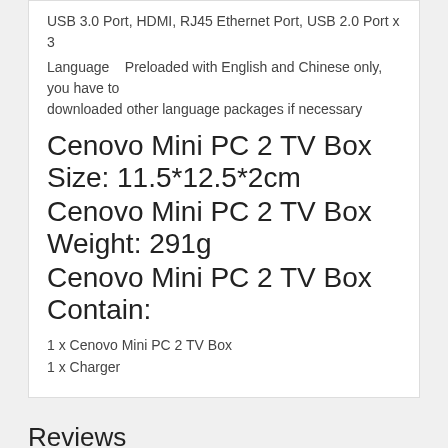USB 3.0 Port, HDMI, RJ45 Ethernet Port, USB 2.0 Port x 3
Language    Preloaded with English and Chinese only, you have to downloaded other language packages if necessary
Cenovo Mini PC 2 TV Box Size: 11.5*12.5*2cm
Cenovo Mini PC 2 TV Box Weight: 291g
Cenovo Mini PC 2 TV Box Contain:
1 x Cenovo Mini PC 2 TV Box
1 x Charger
Reviews
Tags
Questions on Cenovo Mini PC 2 Windows 10 4GB RAM Intel Z8300 64GB ROM OTG HDMI TV Box Grey